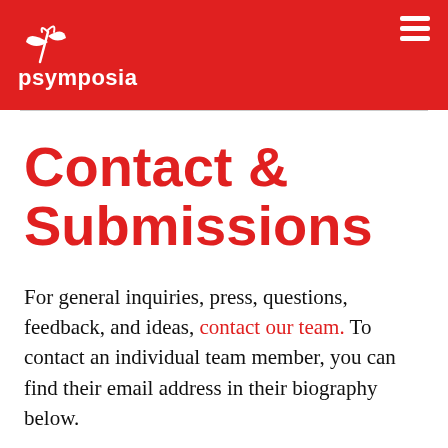[Figure (logo): Psymposia logo: white leaf/plant icon above the text 'psymposia' in white on a red background header, with a hamburger menu icon in the top right.]
Contact & Submissions
For general inquiries, press, questions, feedback, and ideas, contact our team. To contact an individual team member, you can find their email address in their biography below.
For submissions: While the majority of our